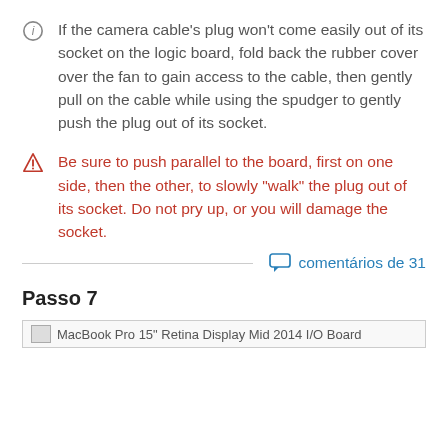If the camera cable's plug won't come easily out of its socket on the logic board, fold back the rubber cover over the fan to gain access to the cable, then gently pull on the cable while using the spudger to gently push the plug out of its socket.
Be sure to push parallel to the board, first on one side, then the other, to slowly "walk" the plug out of its socket. Do not pry up, or you will damage the socket.
comentários de 31
Passo 7
[Figure (photo): MacBook Pro 15" Retina Display Mid 2014 I/O Board]